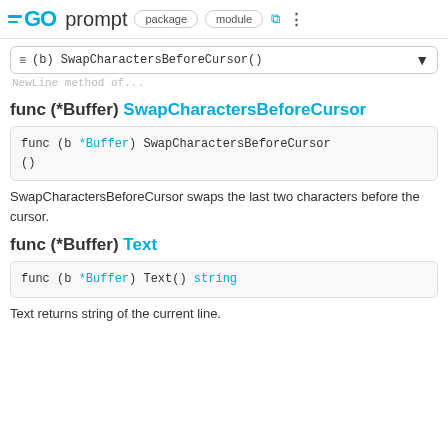GO prompt package module
≡ (b) SwapCharactersBeforeCursor()
NewLine method of...
func (*Buffer) SwapCharactersBeforeCursor
func (b *Buffer) SwapCharactersBeforeCursor()
SwapCharactersBeforeCursor swaps the last two characters before the cursor.
func (*Buffer) Text
func (b *Buffer) Text() string
Text returns string of the current line.